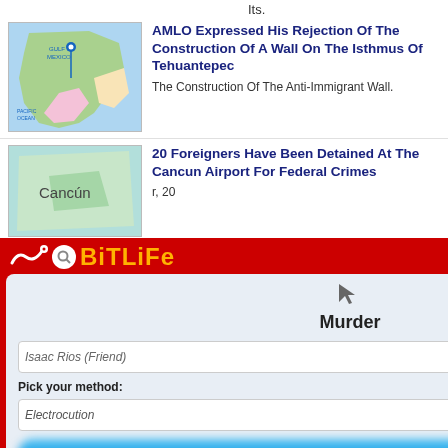Its.
[Figure (map): Map of Mexico/Central American region showing Gulf of Mexico and Pacific Ocean]
AMLO Expressed His Rejection Of The Construction Of A Wall On The Isthmus Of Tehuantepec
The Construction Of The Anti-Immigrant Wall.
[Figure (map): Map showing Cancún area]
20 Foreigners Have Been Detained At The Cancun Airport For Federal Crimes
r, 20
Thousand Some Type Of npeche
npeche Is Still
n Time This d Mauricio catan
[Figure (screenshot): BitLife mobile game advertisement showing a murder menu with options to select a target named Isaac Rios (Friend) and pick a method: Electrocution. Has blue blurred action buttons at bottom.]
A Web Meeting To Fall...